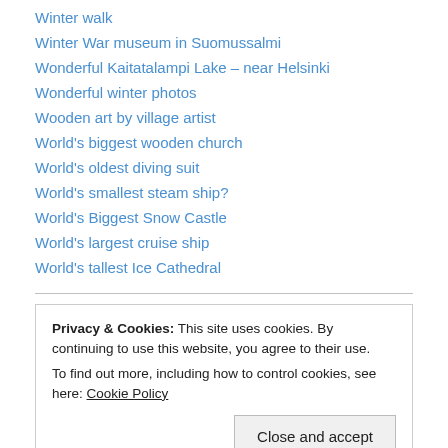Winter walk
Winter War museum in Suomussalmi
Wonderful Kaitatalampi Lake – near Helsinki
Wonderful winter photos
Wooden art by village artist
World's biggest wooden church
World's oldest diving suit
World's smallest steam ship?
World's Biggest Snow Castle
World's largest cruise ship
World's tallest Ice Cathedral
Privacy & Cookies: This site uses cookies. By continuing to use this website, you agree to their use. To find out more, including how to control cookies, see here: Cookie Policy
Egypt – Philae Temple